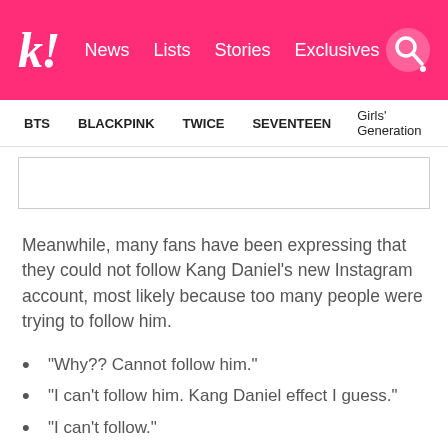k! News  Lists  Stories  Exclusives
BTS  BLACKPINK  TWICE  SEVENTEEN  Girls' Generation
Meanwhile, many fans have been expressing that they could not follow Kang Daniel's new Instagram account, most likely because too many people were trying to follow him.
“Why?? Cannot follow him.”
“I can’t follow him. Kang Daniel effect I guess.”
“I can’t follow.”